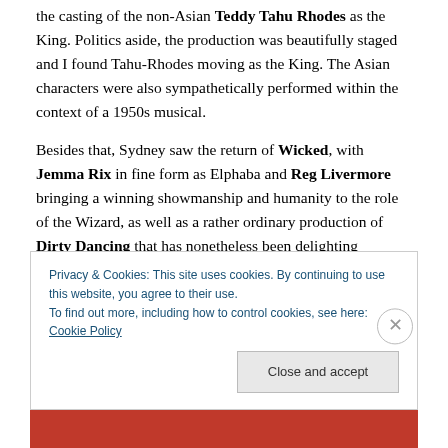the casting of the non-Asian Teddy Tahu Rhodes as the King. Politics aside, the production was beautifully staged and I found Tahu-Rhodes moving as the King. The Asian characters were also sympathetically performed within the context of a 1950s musical.
Besides that, Sydney saw the return of Wicked, with Jemma Rix in fine form as Elphaba and Reg Livermore bringing a winning showmanship and humanity to the role of the Wizard, as well as a rather ordinary production of Dirty Dancing that has nonetheless been delighting
Privacy & Cookies: This site uses cookies. By continuing to use this website, you agree to their use.
To find out more, including how to control cookies, see here: Cookie Policy
Close and accept